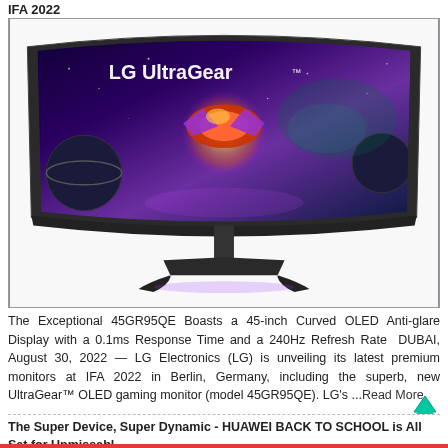IFA 2022
[Figure (photo): LG UltraGear curved OLED gaming monitor (model 45GR95QE) displayed against white background, showing ultrawide curved screen with gaming imagery including a spaceship and space scene. LG UltraGear logo visible on screen.]
The Exceptional 45GR95QE Boasts a 45-inch Curved OLED Anti-glare Display with a 0.1ms Response Time and a 240Hz Refresh Rate  DUBAI, August 30, 2022 — LG Electronics (LG) is unveiling its latest premium monitors at IFA 2022 in Berlin, Germany, including the superb, new UltraGear™ OLED gaming monitor (model 45GR95QE). LG's ...Read More
The Super Device, Super Dynamic - HUAWEI BACK TO SCHOOL is All Set for Unmissabl ...